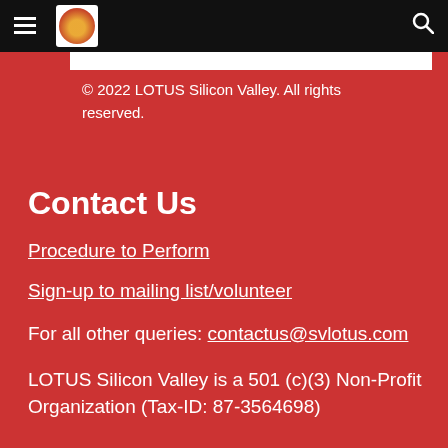≡  [LOTUS logo]  🔍
© 2022 LOTUS Silicon Valley. All rights reserved.
Contact Us
Procedure to Perform
Sign-up to mailing list/volunteer
For all other queries: contactus@svlotus.com
LOTUS Silicon Valley is a 501 (c)(3) Non-Profit Organization (Tax-ID: 87-3564698)